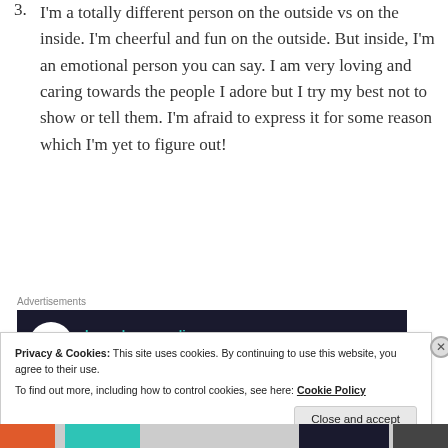3. I'm a totally different person on the outside vs on the inside. I'm cheerful and fun on the outside. But inside, I'm an emotional person you can say. I am very loving and caring towards the people I adore but I try my best not to show or tell them. I'm afraid to express it for some reason which I'm yet to figure out!
Advertisements
[Figure (infographic): Dark advertisement banner: bonsai tree icon in white circle on dark background, teal text 'Launch your online course with WordPress', white underlined 'Learn More' button]
Privacy & Cookies: This site uses cookies. By continuing to use this website, you agree to their use.
To find out more, including how to control cookies, see here: Cookie Policy
Close and accept